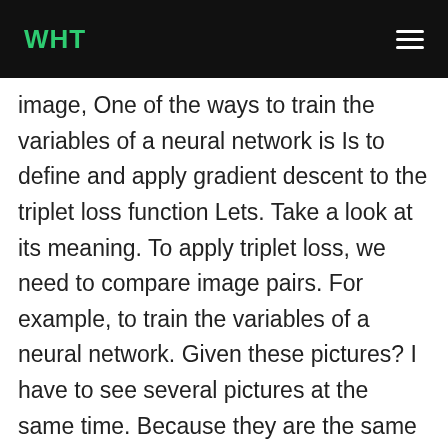WHT
image, One of the ways to train the variables of a neural network is Is to define and apply gradient descent to the triplet loss function Lets. Take a look at its meaning. To apply triplet loss, we need to compare image pairs. For example, to train the variables of a neural network. Given these pictures? I have to see several pictures at the same time. Because they are the same person